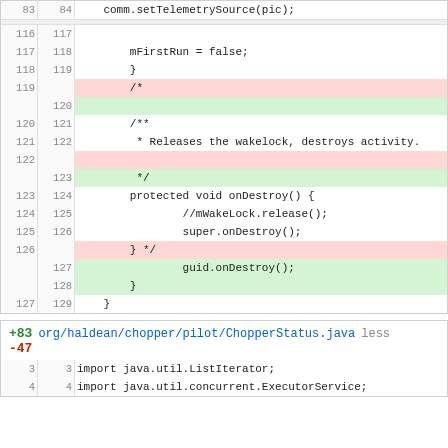| old_ln | new_ln | code |
| --- | --- | --- |
| 83 | 84 |     comm.setTelemetrySource(pic); |
| 116 | 117 |  |
| 117 | 118 |         mFirstRun = false; |
| 118 | 119 |         } |
| 119 |  |         /* |
|  | 120 |  |
| 120 | 121 |         /** |
| 121 | 122 |          * Releases the wakelock, destroys activity. |
| 122 |  |  |
|  | 123 |          */ |
| 123 | 124 |         protected void onDestroy() { |
| 124 | 125 |                 //mWakeLock.release(); |
| 125 | 126 |                 super.onDestroy(); |
| 126 |  |         } */ |
|  | 127 |                 guid.onDestroy(); |
|  | 128 |         } |
| 127 | 129 |     } |
+83 -47 org/haldean/chopper/pilot/ChopperStatus.java less
| old_ln | new_ln | code |
| --- | --- | --- |
| 3 | 3 | import java.util.ListIterator; |
| 4 | 4 | import java.util.concurrent.ExecutorService; |